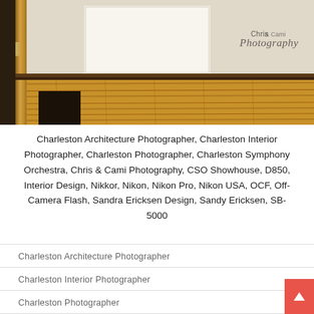[Figure (photo): Interior architectural photo showing wooden floors and doorway with Chris & Cami Photography watermark]
Charleston Architecture Photographer, Charleston Interior Photographer, Charleston Photographer, Charleston Symphony Orchestra, Chris & Cami Photography, CSO Showhouse, D850, Interior Design, Nikkor, Nikon, Nikon Pro, Nikon USA, OCF, Off-Camera Flash, Sandra Ericksen Design, Sandy Ericksen, SB-5000
Charleston Architecture Photographer
Charleston Interior Photographer
Charleston Photographer
Charleston Symphony Orchestra